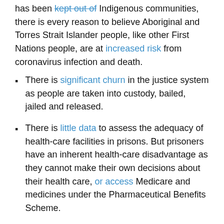has been kept out of Indigenous communities, there is every reason to believe Aboriginal and Torres Strait Islander people, like other First Nations people, are at increased risk from coronavirus infection and death.
There is significant churn in the justice system as people are taken into custody, bailed, jailed and released.
There is little data to assess the adequacy of health-care facilities in prisons. But prisoners have an inherent health-care disadvantage as they cannot make their own decisions about their health care, or access Medicare and medicines under the Pharmaceutical Benefits Scheme.
What's happening in prisons during